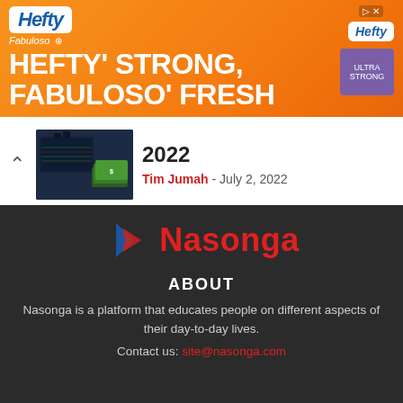[Figure (illustration): Hefty advertisement banner with orange background, Hefty logo in white, Fabuloso logo, text reading HEFTY STRONG, FABULOSO FRESH with product image on right]
[Figure (photo): Article thumbnail showing stock market screens and cash money]
2022
Tim Jumah - July 2, 2022
[Figure (logo): Nasonga logo with blue and red geometric arrow/flag icon and red text Nasonga on dark background]
ABOUT
Nasonga is a platform that educates people on different aspects of their day-to-day lives.
Contact us: site@nasonga.com